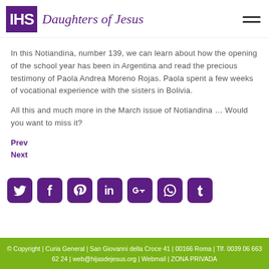IHS Daughters of Jesus
In this Notiandina, number 139, we can learn about how the opening of the school year has been in Argentina and read the precious testimony of Paola Andrea Moreno Rojas. Paola spent a few weeks of vocational experience with the sisters in Bolivia.
All this and much more in the March issue of Notiandina … Would you want to miss it?
Prev
Next
[Figure (infographic): Row of 7 social media icons (Twitter, Facebook, Pinterest, LinkedIn, Google+, WhatsApp, Tumblr) in purple rounded square buttons]
© Copyright | Curia General | San Giovanni della Croce 41 | 00166 Roma | Tlf. 0039 06 663 62 24 | web@hijasdejesus.org | Webmail | ZONA PRIVADA